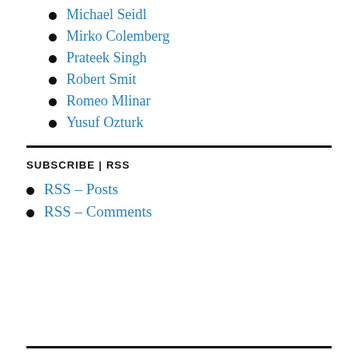Michael Seidl
Mirko Colemberg
Prateek Singh
Robert Smit
Romeo Mlinar
Yusuf Ozturk
SUBSCRIBE | RSS
RSS – Posts
RSS – Comments